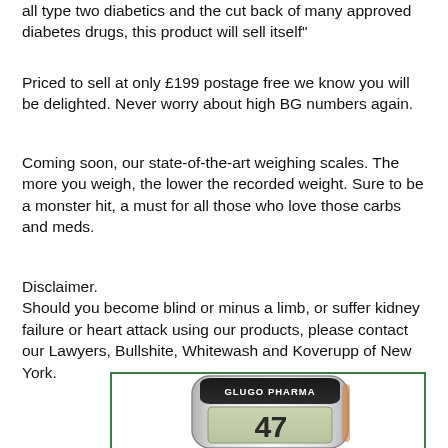all type two diabetics and the cut back of many approved diabetes drugs, this product will sell itself"
Priced to sell at only £199 postage free we know you will be delighted. Never worry about high BG numbers again.
Coming soon, our state-of-the-art weighing scales. The more you weigh, the lower the recorded weight. Sure to be a monster hit, a must for all those who love those carbs and meds.
Disclaimer.
Should you become blind or minus a limb, or suffer kidney failure or heart attack using our products, please contact our Lawyers, Bullshite, Whitewash and Koverupp of New York.
[Figure (photo): A blood glucose meter branded 'GLUGO PHARMA' displaying the number 47 on its LCD screen, shown against a white background inside a green-bordered box.]